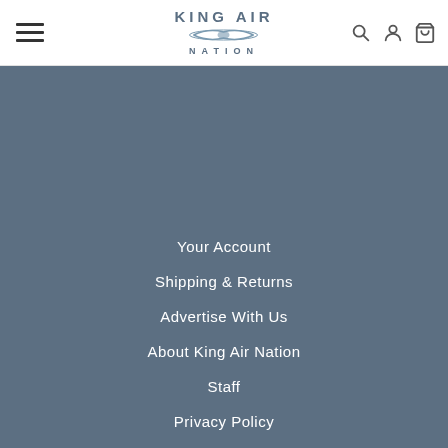King Air Nation — navigation header with hamburger menu, logo, search, account, and cart icons
Your Account
Shipping & Returns
Advertise With Us
About King Air Nation
Staff
Privacy Policy